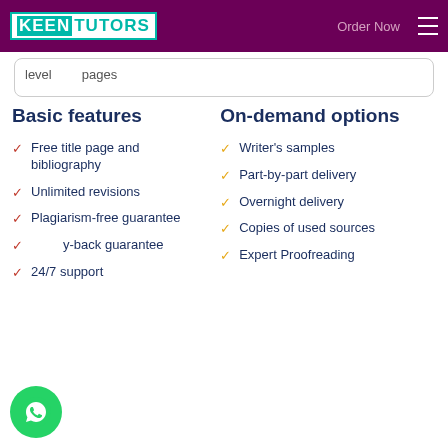KEENTUTORS — Order Now
level    pages
Basic features
On-demand options
Free title page and bibliography
Unlimited revisions
Plagiarism-free guarantee
Money-back guarantee
24/7 support
Writer's samples
Part-by-part delivery
Overnight delivery
Copies of used sources
Expert Proofreading